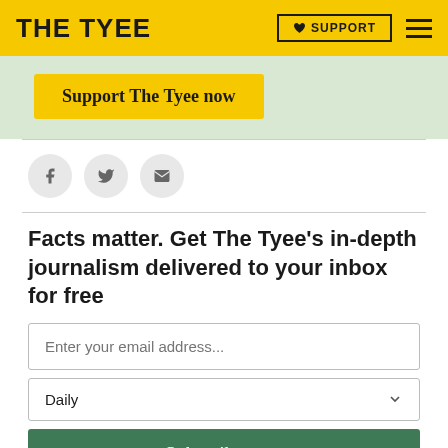THE TYEE — SUPPORT — menu
[Figure (screenshot): Support The Tyee now button on green background promo box]
[Figure (infographic): Social share icons: Facebook, Twitter, Email]
Facts matter. Get The Tyee's in-depth journalism delivered to your inbox for free
Enter your email address...
Daily
Subscribe now